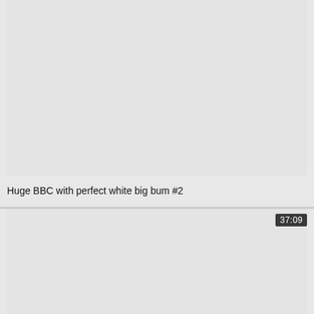[Figure (screenshot): Video thumbnail placeholder, light gray background, top card]
Huge BBC with perfect white big bum #2
[Figure (screenshot): Video thumbnail placeholder, light gray background, bottom card with duration badge showing 37:09]